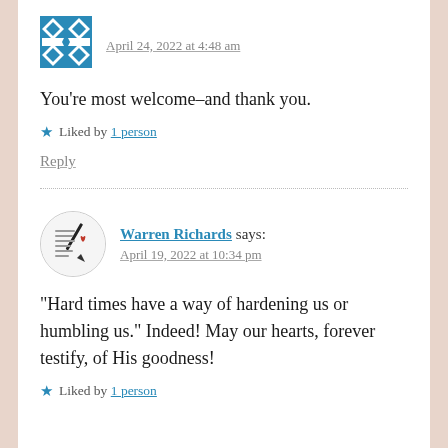[Figure (illustration): Blue and white decorative diamond/cross pattern avatar icon]
April 24, 2022 at 4:48 am
You're most welcome–and thank you.
★ Liked by 1 person
Reply
[Figure (illustration): Circular avatar with handwritten poetry note and pen illustration for Warren Richards]
Warren Richards says:
April 19, 2022 at 10:34 pm
“Hard times have a way of hardening us or humbling us.” Indeed! May our hearts, forever testify, of His goodness!
★ Liked by 1 person